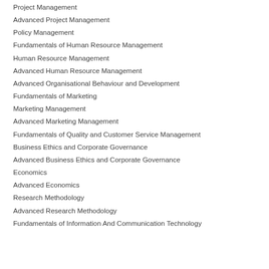Project Management
Advanced Project Management
Policy Management
Fundamentals of Human Resource Management
Human Resource Management
Advanced Human Resource Management
Advanced Organisational Behaviour and Development
Fundamentals of Marketing
Marketing Management
Advanced Marketing Management
Fundamentals of Quality and Customer Service Management
Business Ethics and Corporate Governance
Advanced Business Ethics and Corporate Governance
Economics
Advanced Economics
Research Methodology
Advanced Research Methodology
Fundamentals of Information And Communication Technology